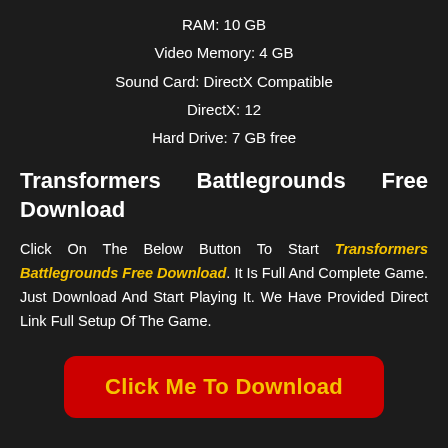RAM: 10 GB
Video Memory: 4 GB
Sound Card: DirectX Compatible
DirectX: 12
Hard Drive: 7 GB free
Transformers Battlegrounds Free Download
Click On The Below Button To Start Transformers Battlegrounds Free Download. It Is Full And Complete Game. Just Download And Start Playing It. We Have Provided Direct Link Full Setup Of The Game.
Click Me To Download